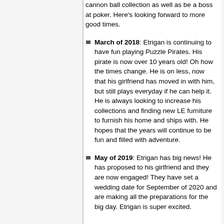cannon ball collection as well as be a boss at poker. Here's looking forward to more good times.
March of 2018: Etrigan is continuing to have fun playing Puzzle Pirates. His pirate is now over 10 years old! Oh how the times change. He is on less, now that his girlfriend has moved in with him, but still plays everyday if he can help it. He is always looking to increase his collections and finding new LE furniture to furnish his home and ships with. He hopes that the years will continue to be fun and filled with adventure.
May of 2019: Etrigan has big news! He has proposed to his girlfriend and they are now engaged! They have set a wedding date for September of 2020 and are making all the preparations for the big day. Etrigan is super excited.